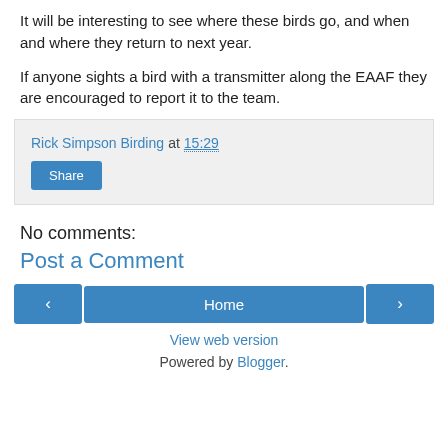It will be interesting to see where these birds go, and when and where they return to next year.
If anyone sights a bird with a transmitter along the EAAF they are encouraged to report it to the team.
Rick Simpson Birding at 15:29 [Share button]
No comments:
Post a Comment
‹  Home  ›  View web version  Powered by Blogger.